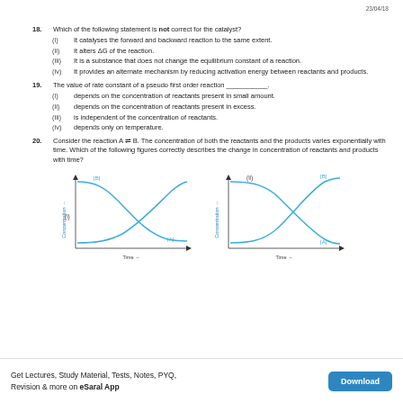23/04/18
18. Which of the following statement is not correct for the catalyst?
(i) It catalyses the forward and backward reaction to the same extent.
(ii) It alters ΔG of the reaction.
(iii) It is a substance that does not change the equilibrium constant of a reaction.
(iv) It provides an alternate mechanism by reducing activation energy between reactants and products.
19. The value of rate constant of a pseudo first order reaction ___________.
(i) depends on the concentration of reactants present in small amount.
(ii) depends on the concentration of reactants present in excess.
(iii) is independent of the concentration of reactants.
(iv) depends only on temperature.
20. Consider the reaction A ⇌ B. The concentration of both the reactants and the products varies exponentially with time. Which of the following figures correctly describes the change in concentration of reactants and products with time?
[Figure (line-chart): Two side-by-side graphs: (i) shows [B] decreasing from high then leveling and [A] rising from low then leveling with time; (ii) shows [B] rising from low then leveling and [A] decreasing from high then leveling with time. Both axes: Concentration vs Time.]
Get Lectures, Study Material, Tests, Notes, PYQ, Revision & more on eSaral App
Download